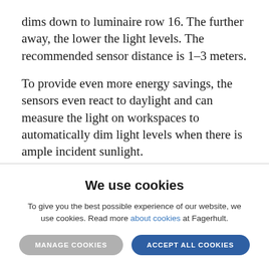dims down to luminaire row 16. The further away, the lower the light levels. The recommended sensor distance is 1–3 meters.
To provide even more energy savings, the sensors even react to daylight and can measure the light on workspaces to automatically dim light levels when there is ample incident sunlight.
We use cookies
To give you the best possible experience of our website, we use cookies. Read more about cookies at Fagerhult.
MANAGE COOKIES | ACCEPT ALL COOKIES